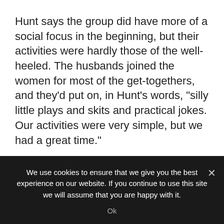Hunt says the group did have more of a social focus in the beginning, but their activities were hardly those of the well-heeled. The husbands joined the women for most of the get-togethers, and they'd put on, in Hunt's words, "silly little plays and skits and practical jokes. Our activities were very simple, but we had a great time."

More than 30 years later, the group has grown to 85 active members and more than 120 sustaining members. Hunt says the league has grown to accomplish things she
We use cookies to ensure that we give you the best experience on our website. If you continue to use this site we will assume that you are happy with it.
Ok